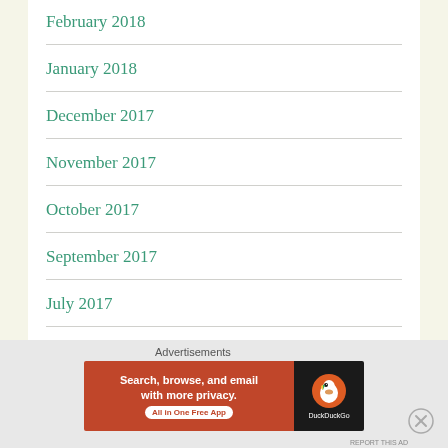February 2018
January 2018
December 2017
November 2017
October 2017
September 2017
July 2017
May 2017
Advertisements
Search, browse, and email with more privacy. All in One Free App
DuckDuckGo